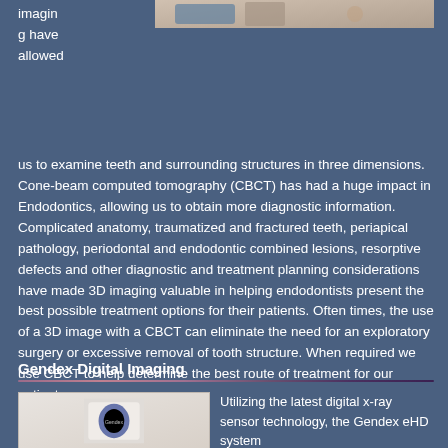[Figure (photo): Medical imaging device or CBCT equipment photo at the top of the page]
imaging have allowed us to examine teeth and surrounding structures in three dimensions. Cone-beam computed tomography (CBCT) has had a huge impact in Endodontics, allowing us to obtain more diagnostic information. Complicated anatomy, traumatized and fractured teeth, periapical pathology, periodontal and endodontic combined lesions, resorptive defects and other diagnostic and treatment planning considerations have made 3D imaging valuable in helping endodontists present the best possible treatment options for their patients. Often times, the use of a 3D image with a CBCT can eliminate the need for an exploratory surgery or excessive removal of tooth structure. When required we use CBCT to help determine the best route of treatment for our patients.
Gendex Digital Imaging
[Figure (photo): Gendex eHD digital x-ray sensor device photo]
Utilizing the latest digital x-ray sensor technology, the Gendex eHD system